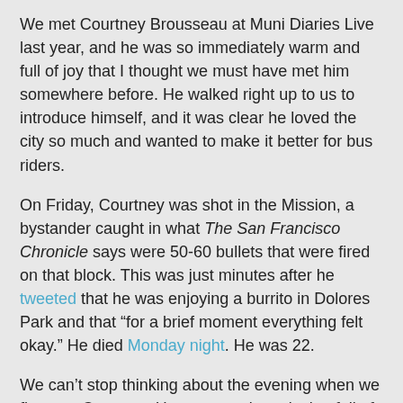We met Courtney Brousseau at Muni Diaries Live last year, and he was so immediately warm and full of joy that I thought we must have met him somewhere before. He walked right up to us to introduce himself, and it was clear he loved the city so much and wanted to make it better for bus riders.
On Friday, Courtney was shot in the Mission, a bystander caught in what The San Francisco Chronicle says were 50-60 bullets that were fired on that block. This was just minutes after he tweeted that he was enjoying a burrito in Dolores Park and that “for a brief moment everything felt okay.” He died Monday night. He was 22.
We can’t stop thinking about the evening when we first met Courtney. He was wearing a jacket full of transit buttons and had just hosted an afternoon transit pub crawl with Chris Arvin (one of our storytellers that night).